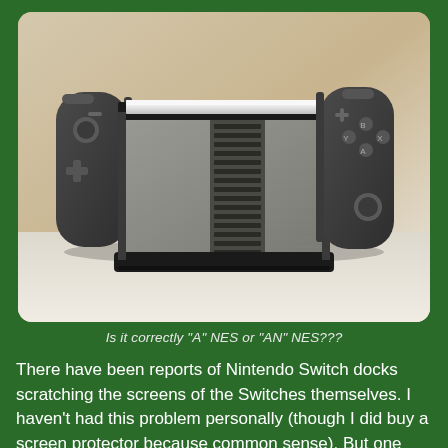[Figure (photo): Nintendo Switch console docked in what appears to be an NES-styled dock/case, showing the gray textured cover with dark horizontal stripe vents in the center, Joy-Con controllers attached on each side (dark gray), set against a light beige/cream background.]
Is it correctly “A” NES or “AN” NES???
There have been reports of Nintendo Switch docks scratching the screens of the Switches themselves. I haven’t had this problem personally (though I did buy a screen protector because common sense). But one